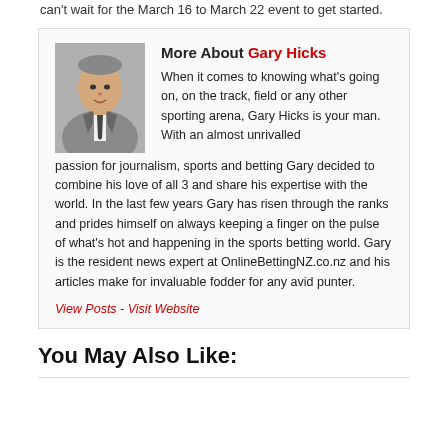can't wait for the March 16 to March 22 event to get started.
More About Gary Hicks
When it comes to knowing what's going on, on the track, field or any other sporting arena, Gary Hicks is your man. With an almost unrivalled passion for journalism, sports and betting Gary decided to combine his love of all 3 and share his expertise with the world. In the last few years Gary has risen through the ranks and prides himself on always keeping a finger on the pulse of what's hot and happening in the sports betting world. Gary is the resident news expert at OnlineBettingNZ.co.nz and his articles make for invaluable fodder for any avid punter.
View Posts - Visit Website
You May Also Like: